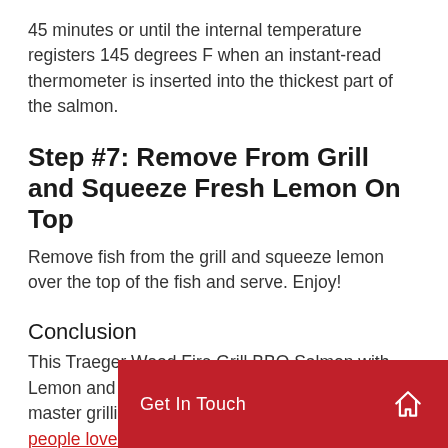45 minutes or until the internal temperature registers 145 degrees F when an instant-read thermometer is inserted into the thickest part of the salmon.
Step #7: Remove From Grill and Squeeze Fresh Lemon On Top
Remove fish from the grill and squeeze lemon over the top of the fish and serve. Enjoy!
Conclusion
This Traeger Wood Fire Grill BBQ Salmon with Lemon and Dill Recipe is the perfect recipe to master grilling your favorite fish at home. So many people love to order fish out at a restaurant but then do not know how to cook it at home. We get [obscured] protein to mess up and peo[obscured] seafood, but this Traeger sa[obscured] Besides, if you are buying salmon out at a restaurant it